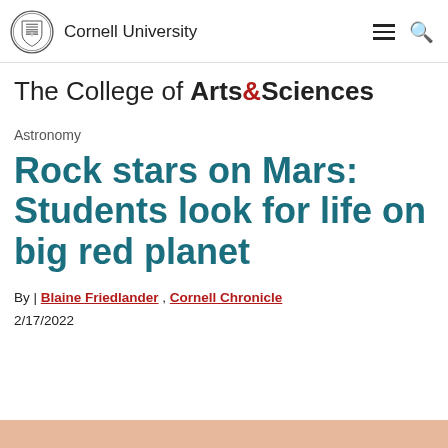Cornell University
The College of Arts&Sciences
Astronomy
Rock stars on Mars: Students look for life on big red planet
By | Blaine Friedlander , Cornell Chronicle
2/17/2022
[Figure (photo): Partial peach/orange colored image strip at bottom of page]